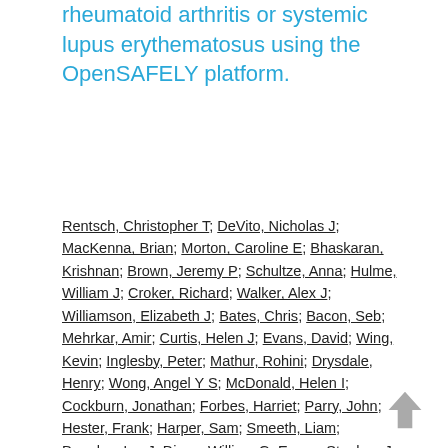rheumatoid arthritis or systemic lupus erythematosus using the OpenSAFELY platform.
Rentsch, Christopher T; DeVito, Nicholas J; MacKenna, Brian; Morton, Caroline E; Bhaskaran, Krishnan; Brown, Jeremy P; Schultze, Anna; Hulme, William J; Croker, Richard; Walker, Alex J; Williamson, Elizabeth J; Bates, Chris; Bacon, Seb; Mehrkar, Amir; Curtis, Helen J; Evans, David; Wing, Kevin; Inglesby, Peter; Mathur, Rohini; Drysdale, Henry; Wong, Angel Y S; McDonald, Helen I; Cockburn, Jonathan; Forbes, Harriet; Parry, John; Hester, Frank; Harper, Sam; Smeeth, Liam; Douglas, Ian J; Dixon, William G; Evans, Stephen J W; Tomlinson, Laurie; Goldacre, Ben.